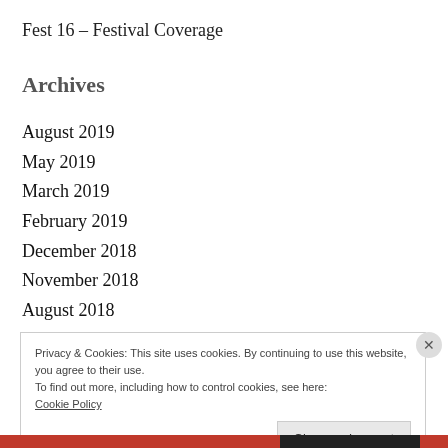Fest 16 – Festival Coverage
Archives
August 2019
May 2019
March 2019
February 2019
December 2018
November 2018
August 2018
Privacy & Cookies: This site uses cookies. By continuing to use this website, you agree to their use.
To find out more, including how to control cookies, see here:
Cookie Policy
Close and accept